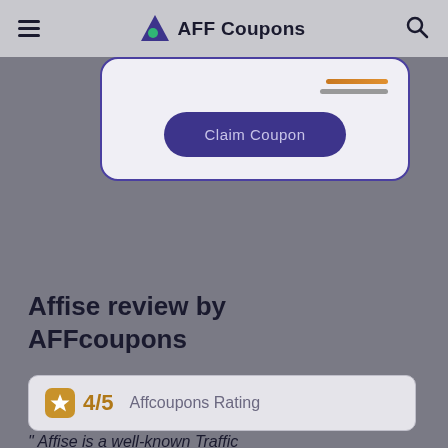AFF Coupons
[Figure (screenshot): Coupon card with a Claim Coupon button and decorative lines at top right]
Affise review by AFFcoupons
4/5   Affcoupons Rating
" Affise is a well-known Traffic